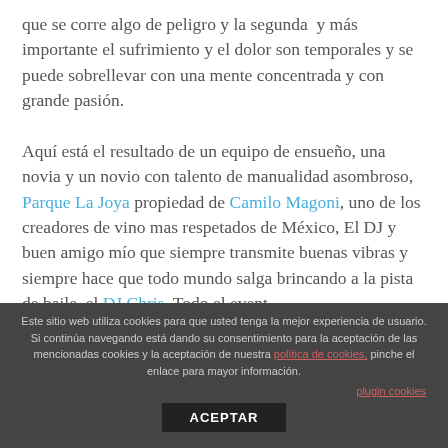que se corre algo de peligro y la segunda y más importante el sufrimiento y el dolor son temporales y se puede sobrellevar con una mente concentrada y con grande pasión.

Aquí está el resultado de un equipo de ensueño, una novia y un novio con talento de manualidad asombroso, Parque La Joya propiedad de Camilo Magoni, uno de los creadores de vino mas respetados de México, El DJ y buen amigo mío que siempre transmite buenas vibras y siempre hace que todo mundo salga brincando a la pista de baile, el DJ Chris. Todo el event
Este sitio web utiliza cookies para que usted tenga la mejor experiencia de usuario. Si continúa navegando está dando su consentimiento para la aceptación de las mencionadas cookies y la aceptación de nuestra política de cookies, pinche el enlace para mayor información.
plugin cookies
ACEPTAR